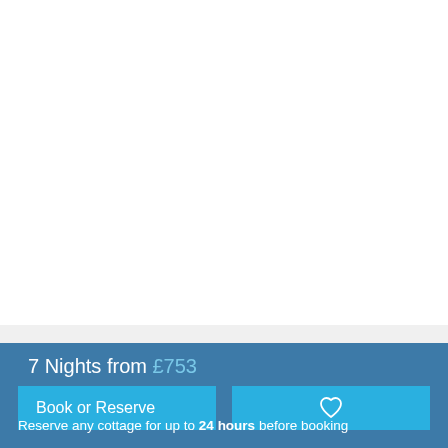7 Nights from £753
Book or Reserve
[Figure (other): Heart/favourite icon button]
Reserve any cottage for up to 24 hours before booking